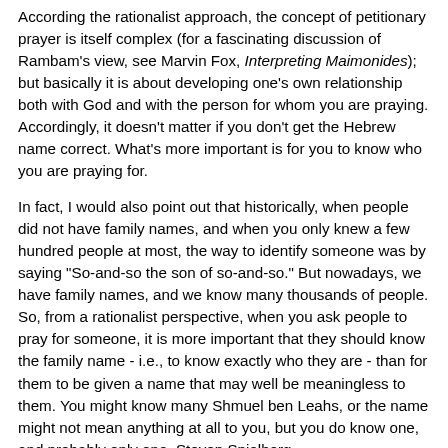According the rationalist approach, the concept of petitionary prayer is itself complex (for a fascinating discussion of Rambam's view, see Marvin Fox, Interpreting Maimonides); but basically it is about developing one's own relationship both with God and with the person for whom you are praying. Accordingly, it doesn't matter if you don't get the Hebrew name correct. What's more important is for you to know who you are praying for.
In fact, I would also point out that historically, when people did not have family names, and when you only knew a few hundred people at most, the way to identify someone was by saying "So-and-so the son of so-and-so." But nowadays, we have family names, and we know many thousands of people. So, from a rationalist perspective, when you ask people to pray for someone, it is more important that they should know the family name - i.e., to know exactly who they are - than for them to be given a name that may well be meaningless to them. You might know many Shmuel ben Leahs, or the name might not mean anything at all to you, but you do know one, and probably only one, Steven Spielberg.